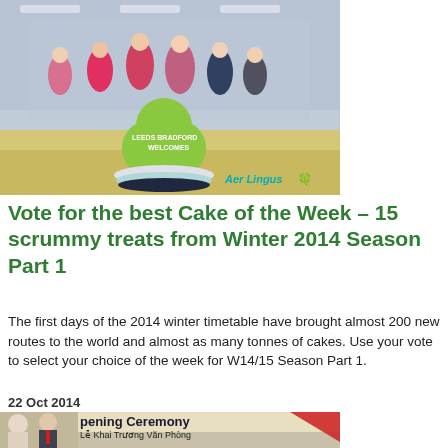[Figure (photo): Photo of children in Irish dance costumes at an airport, standing behind a large Aer Lingus shamrock display with 'Leeds Bradford Welcomes' text. Aer Lingus branding visible at bottom right.]
Vote for the best Cake of the Week – 15 scrummy treats from Winter 2014 Season Part 1
The first days of the 2014 winter timetable have brought almost 200 new routes to the world and almost as many tonnes of cakes. Use your vote to select your choice of the week for W14/15 Season Part 1.
22 Oct 2014
[Figure (photo): Photo of an opening ceremony (Lễ Khai Trương Văn Phòng) in Chi Minh City 17/10, showing people in formal attire including women in hijabs and a man in a suit with red tie.]